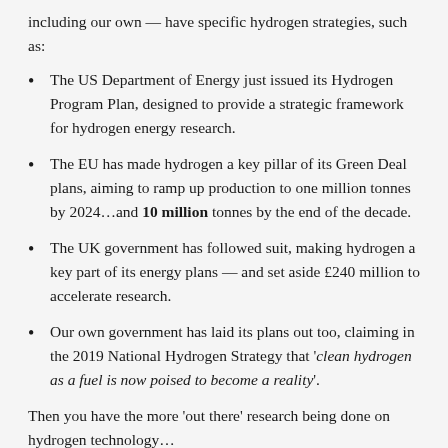including our own — have specific hydrogen strategies, such as:
The US Department of Energy just issued its Hydrogen Program Plan, designed to provide a strategic framework for hydrogen energy research.
The EU has made hydrogen a key pillar of its Green Deal plans, aiming to ramp up production to one million tonnes by 2024…and 10 million tonnes by the end of the decade.
The UK government has followed suit, making hydrogen a key part of its energy plans — and set aside £240 million to accelerate research.
Our own government has laid its plans out too, claiming in the 2019 National Hydrogen Strategy that 'clean hydrogen as a fuel is now poised to become a reality'.
Then you have the more 'out there' research being done on hydrogen technology…
Airbus is researching ways to use it in commercial